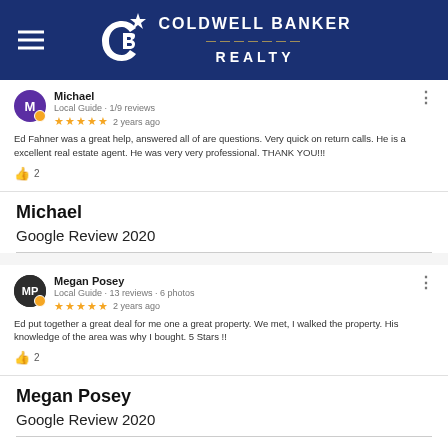Coldwell Banker Realty
[Figure (screenshot): Google review by Michael, Local Guide, 1/9 reviews, 5 stars, 2 years ago. Review text: Ed Fahner was a great help, answered all of are questions. Very quick on return calls. He is a excellent real estate agent. He was very very professional. THANK YOU!!! Liked by 2.]
Michael
Google Review 2020
[Figure (screenshot): Google review by Megan Posey, Local Guide, 13 reviews, 6 photos, 5 stars, 2 years ago. Review text: Ed put together a great deal for me one a great property. We met, I walked the property. His knowledge of the area was why I bought. 5 Stars !! Liked by 2.]
Megan Posey
Google Review 2020